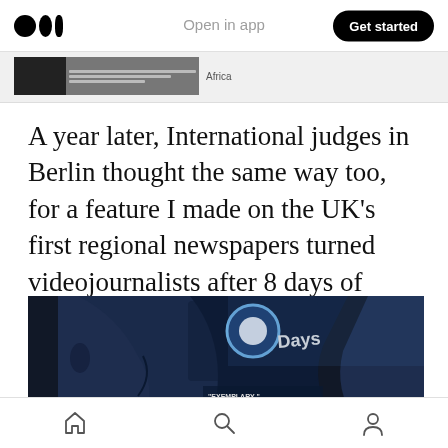Medium logo | Open in app | Get started
[Figure (screenshot): Thumbnail strip showing a news article image with text columns and an 'Africa' label]
A year later, International judges in Berlin thought the same way too, for a feature I made on the UK's first regional newspapers turned videojournalists after 8 days of training them.
[Figure (photo): Dark cinematic image showing two bald men's profiles facing each other with an '8 Days' logo in the center and text reading 'EXEMPLARY ARTISTIC CINEMA JOURNALISM']
Home | Search | Profile